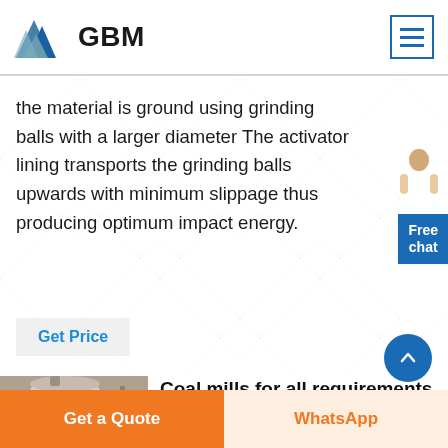GBM
the material is ground using grinding balls with a larger diameter The activator lining transports the grinding balls upwards with minimum slippage thus producing optimum impact energy.
Get Price
[Figure (photo): Industrial coal mill machinery, large cylindrical vessel with pipes]
Coal mills for all requirements Gebr Pfeiffer
Get a Quote | WhatsApp